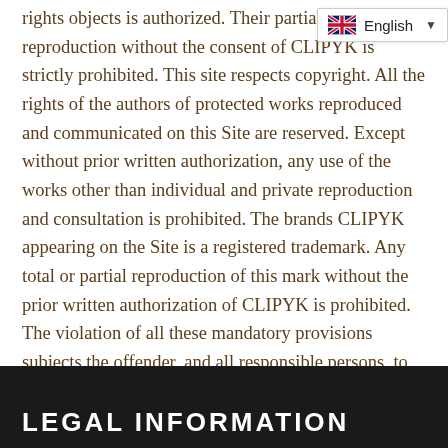rights objects is authorized. Their partial or complete reproduction without the consent of CLIPYK is strictly prohibited. This site respects copyright. All the rights of the authors of protected works reproduced and communicated on this Site are reserved. Except without prior written authorization, any use of the works other than individual and private reproduction and consultation is prohibited. The brands CLIPYK appearing on the Site is a registered trademark. Any total or partial reproduction of this mark without the prior written authorization of CLIPYK is prohibited. The violation of all these mandatory provisions subjects the offender, and all responsible persons, to the criminal and civil penalties provided for by law.
[Figure (other): Language selector badge showing UK flag and 'English' with dropdown arrow]
LEGAL INFORMATION